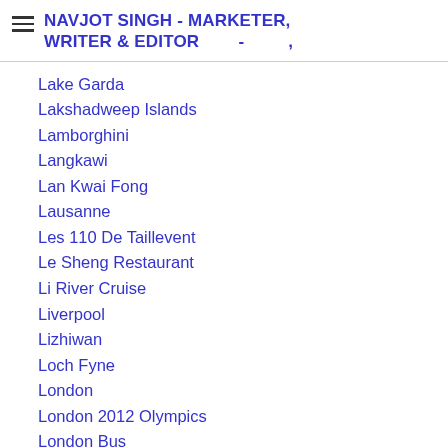NAVJOT SINGH - MARKETER, WRITER & EDITOR - ,
Lake Garda
Lakshadweep Islands
Lamborghini
Langkawi
Lan Kwai Fong
Lausanne
Les 110 De Taillevent
Le Sheng Restaurant
Li River Cruise
Liverpool
Lizhiwan
Loch Fyne
London
London 2012 Olympics
London Bus
London City Airport
London Evening Standard